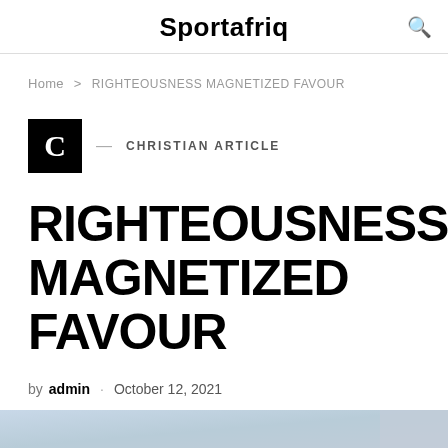Sportafriq
Home > RIGHTEOUSNESS MAGNETIZED FAVOUR
[Figure (logo): Black square with white letter C]
— CHRISTIAN ARTICLE
RIGHTEOUSNESS MAGNETIZED FAVOUR
by admin · October 12, 2021
[Figure (photo): Partial image at bottom of page, sky/outdoor scene]